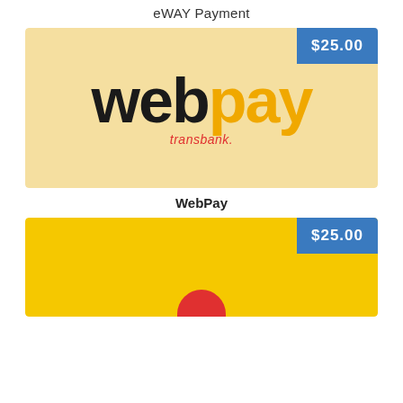eWAY Payment
[Figure (logo): WebPay by Transbank logo on a light yellow/beige background card with $25.00 price badge in blue top right corner. Logo shows 'web' in dark/black and 'pay' in orange/gold, with 'transbank.' below in red italic.]
WebPay
[Figure (logo): Yellow background payment card with $25.00 price badge in blue top right corner. Partially visible red circular element at bottom center.]